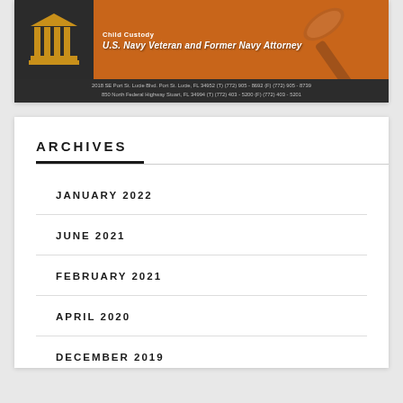[Figure (advertisement): Law firm advertisement banner with courthouse pillars icon on dark background, orange section with text 'Child Custody' and 'U.S. Navy Veteran and Former Navy Attorney', gavel image, and address details for Port St. Lucie and Stuart, FL offices.]
ARCHIVES
JANUARY 2022
JUNE 2021
FEBRUARY 2021
APRIL 2020
DECEMBER 2019